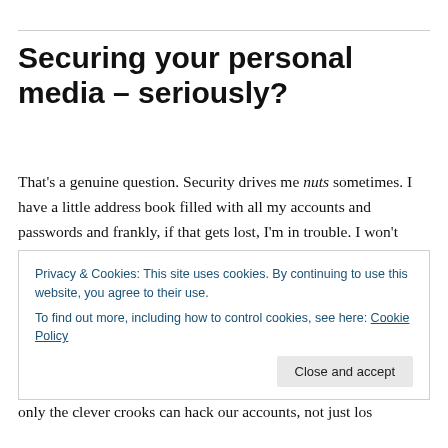Securing your personal media – seriously?
That's a genuine question. Security drives me nuts sometimes. I have a little address book filled with all my accounts and passwords and frankly, if that gets lost, I'm in trouble. I won't even be able to ask my zillions of accounts to send password reminders to my email address because that password is in the little book too.
Privacy & Cookies: This site uses cookies. By continuing to use this website, you agree to their use.
To find out more, including how to control cookies, see here: Cookie Policy
only the clever crooks can hack our accounts, not just los